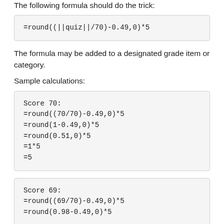The following formula should do the trick:
The formula may be added to a designated grade item or category.
Sample calculations: